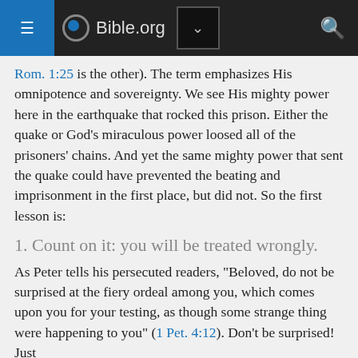Bible.org
Rom. 1:25 is the other). The term emphasizes His omnipotence and sovereignty. We see His mighty power here in the earthquake that rocked this prison. Either the quake or God’s miraculous power loosed all of the prisoners’ chains. And yet the same mighty power that sent the quake could have prevented the beating and imprisonment in the first place, but did not. So the first lesson is:
1. Count on it: you will be treated wrongly.
As Peter tells his persecuted readers, “Beloved, do not be surprised at the fiery ordeal among you, which comes upon you for your testing, as though some strange thing were happening to you” (1 Pet. 4:12). Don’t be surprised! Just